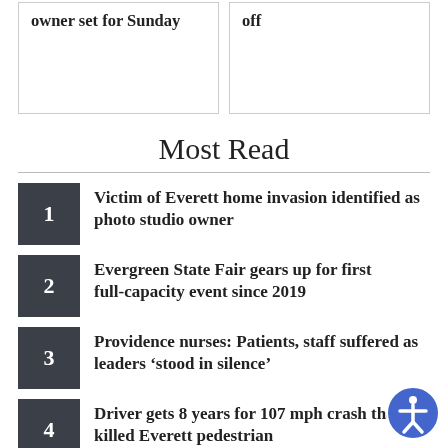owner set for Sunday
off
Most Read
1 Victim of Everett home invasion identified as photo studio owner
2 Evergreen State Fair gears up for first full-capacity event since 2019
3 Providence nurses: Patients, staff suffered as leaders ‘stood in silence’
4 Driver gets 8 years for 107 mph crash that killed Everett pedestrian